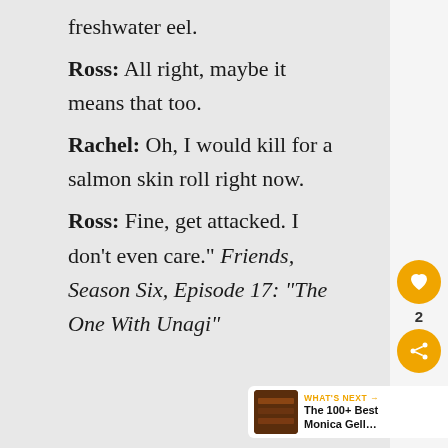freshwater eel. Ross: All right, maybe it means that too. Rachel: Oh, I would kill for a salmon skin roll right now. Ross: Fine, get attacked. I don't even care." Friends, Season Six, Episode 17: "The One With Unagi"
[Figure (infographic): Social media UI overlay on right side with heart/like button, share count of 2, and share button]
WHAT'S NEXT → The 100+ Best Monica Gell…